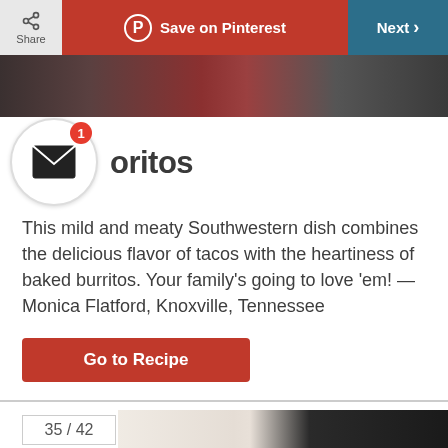Share | Save on Pinterest | Next >
[Figure (photo): Food photo strip at top of page]
[Figure (illustration): Mail/envelope notification icon in circle with red badge showing number 1]
oritos
This mild and meaty Southwestern dish combines the delicious flavor of tacos with the heartiness of baked burritos. Your family's going to love 'em! —Monica Flatford, Knoxville, Tennessee
Go to Recipe
35 / 42
[Figure (photo): Bottom food photos showing cream/white ingredients and a dark pot with sauce]